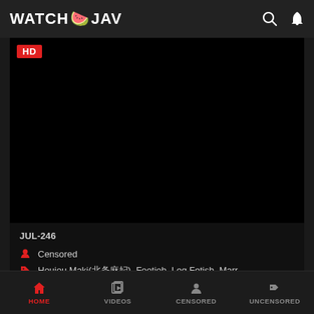WATCH JAV
[Figure (screenshot): Black video player area with HD badge in top-left corner]
JUL-246 （Japanese characters）
Censored
Houjou Maki(北条麻妃), Footjob, Leg Fetish, Marr…
HOME  VIDEOS  CENSORED  UNCENSORED